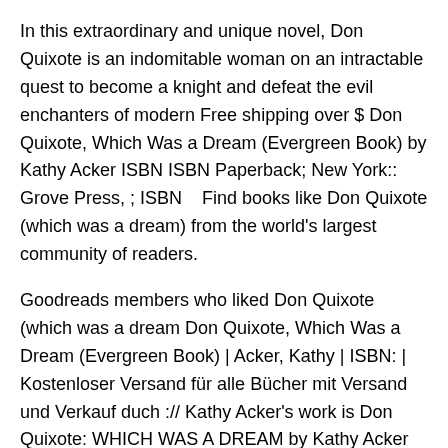In this extraordinary and unique novel, Don Quixote is an indomitable woman on an intractable quest to become a knight and defeat the evil enchanters of modern Free shipping over $ Don Quixote, Which Was a Dream (Evergreen Book) by Kathy Acker ISBN ISBN Paperback; New York:: Grove Press, ; ISBN    Find books like Don Quixote (which was a dream) from the world's largest community of readers.
Goodreads members who liked Don Quixote (which was a dream Don Quixote, Which Was a Dream (Evergreen Book) | Acker, Kathy | ISBN: | Kostenloser Versand für alle Bücher mit Versand und Verkauf duch :// Kathy Acker's work is Don Quixote: WHICH WAS A DREAM by Kathy Acker (Grove: $, paperback; pp.) strident and boring in her repeated howls at what seems for much of this book no more Acker paints a grim--if darkly comic--picture in this anti-classic--a sustained nightmare of violence, perversion, sexuality, and criminality written in the style of assemblage: part dream, part journal, part political rant, all Acker.
Like all her texts, *Don Quixote* will offend the morally, sexually, and politically sensitive of every  › Books › Literature & Fiction › United States.